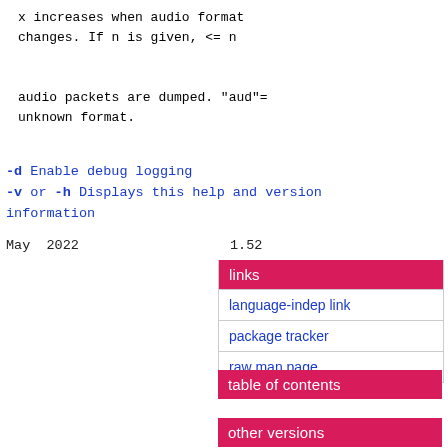x increases when audio format changes. If n is given, <= n
audio packets are dumped. "aud"= unknown format.
-d Enable debug logging
-v or -h Displays this help and version information
May  2022                          1.52
| links |
| --- |
| language-indep link |
| package tracker |
| raw man page |
| table of contents |
| --- |
| other versions |
| --- |